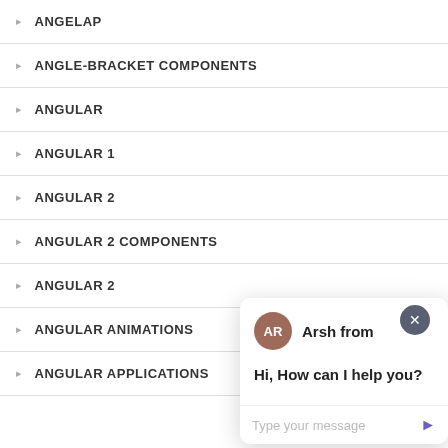ANGELAP
ANGLE-BRACKET COMPONENTS
ANGULAR
ANGULAR 1
ANGULAR 2
ANGULAR 2 COMPONENTS
ANGULAR 2
ANGULAR ANIMATIONS
ANGULAR APPLICATIONS
[Figure (screenshot): Chat popup with avatar 'AR' (Arsh), message 'Hi, How can I help you?', text input placeholder 'Type your message', send arrow button, close X button, and purple chat launcher icon.]